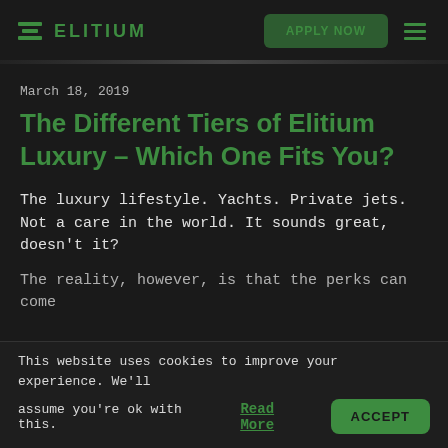ELITIUM | APPLY NOW
March 18, 2019
The Different Tiers of Elitium Luxury – Which One Fits You?
The luxury lifestyle. Yachts. Private jets. Not a care in the world. It sounds great, doesn't it?
The reality, however, is that the perks can come
This website uses cookies to improve your experience. We'll assume you're ok with this. Read More ACCEPT